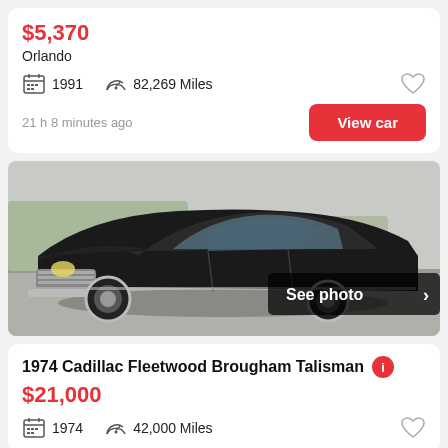$5,370
Orlando
1991   82,269 Miles
21 h 8 minutes ago
View car
[Figure (photo): Photo of a 1974 Cadillac Fleetwood Brougham Talisman, black color, classic large luxury car with chrome grille and white wall tires, parked in a lot. Overlay badge says 'See photo >']
1974 Cadillac Fleetwood Brougham Talisman
$21,000
1974   42,000 Miles